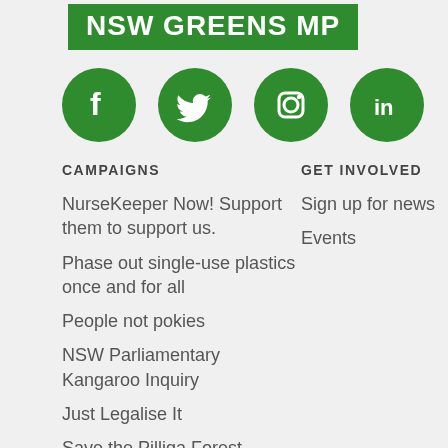NSW GREENS MP
[Figure (logo): Row of four green circular social media icons: Facebook, Twitter, Instagram, LinkedIn]
CAMPAIGNS
GET INVOLVED
NurseKeeper Now! Support them to support us.
Sign up for news
Phase out single-use plastics once and for all
Events
People not pokies
NSW Parliamentary Kangaroo Inquiry
Just Legalise It
Save the Pilliga Forest
Donate now to help save our koalas from